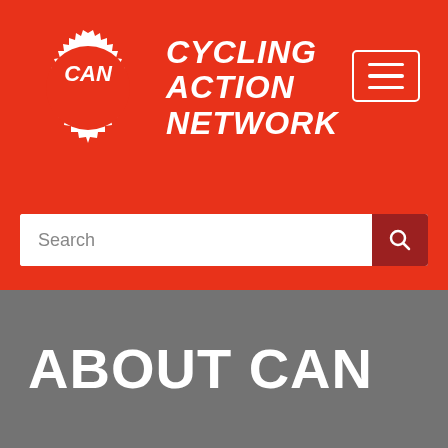[Figure (logo): Cycling Action Network logo: a white gear/cog badge with CAN text inside, next to bold white italic text reading CYCLING ACTION NETWORK, on a red background]
[Figure (other): Hamburger menu button: white bordered rectangle with three white horizontal lines]
[Figure (other): Search bar with placeholder text 'Search' and a dark red search icon button on the right]
ABOUT CAN